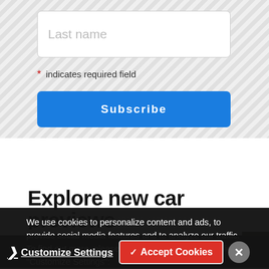Last name
* indicates required field
Subscribe
Explore new car previews
We use cookies to personalize content and ads, to provide social media features and to analyze our traffic. To find out more, please visit our privacy policy or click "Customize Settings":
Customize Settings
✓ Accept Cookies